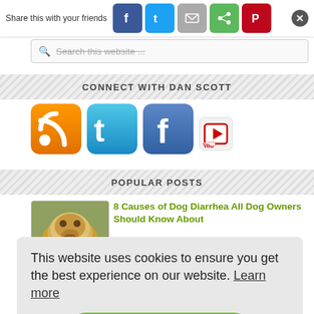[Figure (screenshot): Social share bar with Facebook, Twitter, Email, ShareThis, Pinterest buttons and a close (X) button. Text reads 'Share this with your friends']
[Figure (screenshot): Search bar with placeholder text 'Search this website...' and magnifying glass icon, text shown with strikethrough]
CONNECT WITH DAN SCOTT
[Figure (screenshot): Four social media icons: RSS feed (orange), Twitter (blue), Facebook (blue), YouTube (red/white)]
POPULAR POSTS
[Figure (photo): Golden retriever puppy face close-up thumbnail]
8 Causes of Dog Diarrhea All Dog Owners Should Know About
(32,453)
This website uses cookies to ensure you get the best experience on our website. Learn more
Got it!
How to Solve Dog Yeast Infection Quickly and Naturally